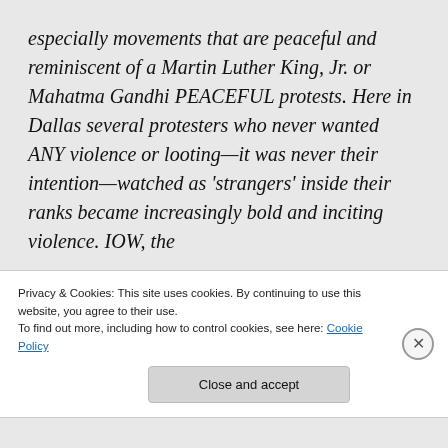especially movements that are peaceful and reminiscent of a Martin Luther King, Jr. or Mahatma Gandhi PEACEFUL protests. Here in Dallas several protesters who never wanted ANY violence or looting—it was never their intention—watched as 'strangers' inside their ranks became increasingly bold and inciting violence. IOW, the
Privacy & Cookies: This site uses cookies. By continuing to use this website, you agree to their use.
To find out more, including how to control cookies, see here: Cookie Policy